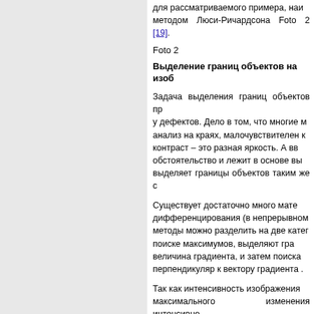для рассматриваемого примера, наи... методом Люси-Ричардсона Foto 2 [19].
Foto 2
Выделение границ объектов на изоб...
Задача выделения границ объектов пр... у дефектов. Дело в том, что многие м... анализ на краях, малочувствителен к... контраст – это разная яркость. А вв... обстоятельство и лежит в основе в... выделяет границы объектов таким же с...
Существует достаточно много мате... дифференцирования (в непрерывном ... методы можно разделить на две катег... поиске максимумов, выделяют гра... величина градиента, и затем поиска... перпендикуляр к вектору градиента .
Так как интенсивность изображения... максимального изменения интенсивно...
Направление градиента (угол) вычисля...